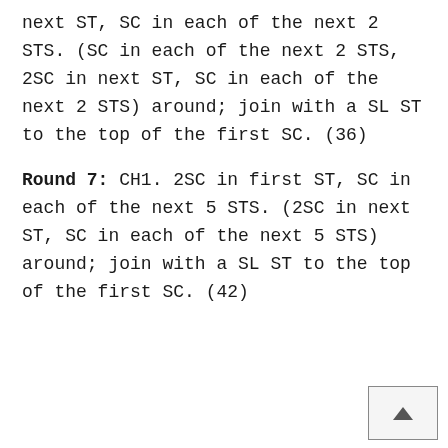next ST, SC in each of the next 2 STS. (SC in each of the next 2 STS, 2SC in next ST, SC in each of the next 2 STS) around; join with a SL ST to the top of the first SC. (36)
Round 7: CH1. 2SC in first ST, SC in each of the next 5 STS. (2SC in next ST, SC in each of the next 5 STS) around; join with a SL ST to the top of the first SC. (42)